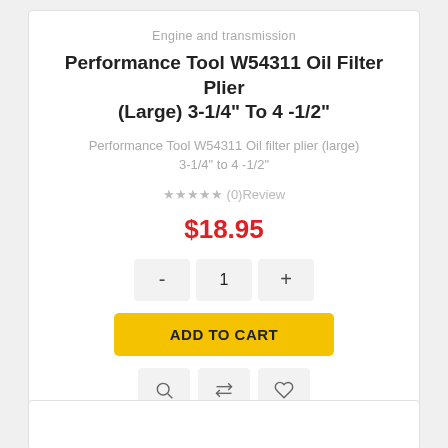Engine and transmission
Performance Tool W54311 Oil Filter Plier (Large) 3-1/4" To 4 -1/2"
Performance Tool W54311 Oil filter plier (large) 3-1/4" to 4 -1/2"
★★★★★ (0)Review
$18.95
- 1 +
ADD TO CART